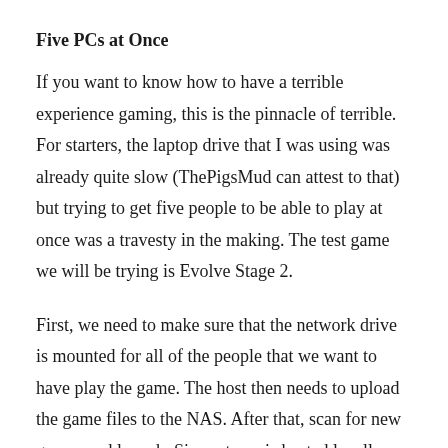Five PCs at Once
If you want to know how to have a terrible experience gaming, this is the pinnacle of terrible. For starters, the laptop drive that I was using was already quite slow (ThePigsMud can attest to that) but trying to get five people to be able to play at once was a travesty in the making. The test game we will be trying is Evolve Stage 2.
First, we need to make sure that the network drive is mounted for all of the people that we want to have play the game. The host then needs to upload the game files to the NAS. After that, scan for new games and launch. Since steam is hosted locally, there should be no login issues (there weren't any for us) so just see if the game launches. It may or may not, depending on the day, wind speed, and